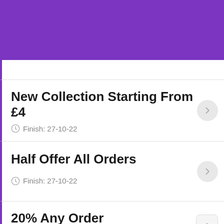[Figure (screenshot): Purple header bar at the top of the page]
New Collection Starting From £4 — Finish: 27-10-22
Half Offer All Orders — Finish: 27-10-22
20% Any Order